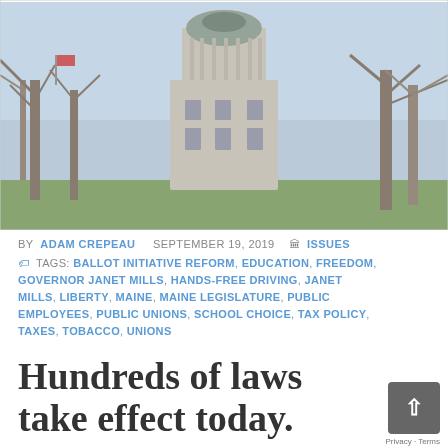[Figure (photo): Maine State Capitol building with dome visible through bare trees, green lawn in foreground, blue sky]
BY ADAM CREPEAU   SEPTEMBER 19, 2019   ISSUES
TAGS: BALLOT INITIATIVE REFORM, EDUCATION, FREEDOM, GOVERNOR JANET MILLS, HANDS-FREE DRIVING, JANET MILLS, LIBERTY, MAINE, MAINE LEGISLATURE, PUBLIC EMPLOYEES, PUBLIC UNIONS, SCHOOL CHOICE, TAX POLICY, TAXES, TOBACCO, UNIONS
Hundreds of laws take effect today. Here's